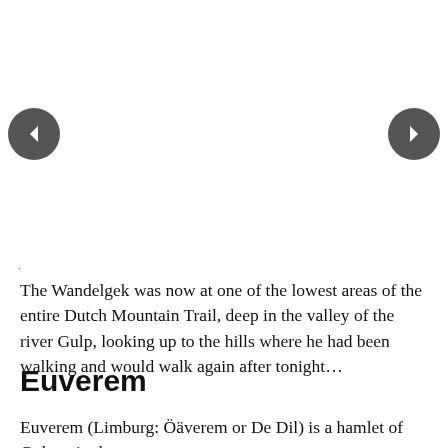[Figure (screenshot): Image carousel area with left and right navigation arrow buttons on a white background. Left button is a dark grey circle with a left-pointing triangle. Right button is a dark grey circle with a right-pointing triangle.]
The Wandelgek was now at one of the lowest areas of the entire Dutch Mountain Trail, deep in the valley of the river Gulp, looking up to the hills where he had been walking and would walk again after tonight…
Euverem
Euverem (Limburg: Öäverem or De Dil) is a hamlet of Gulpen in the